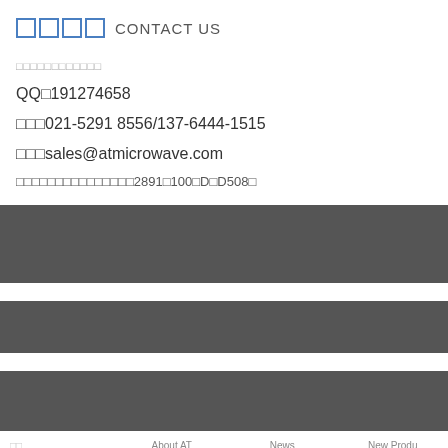□□□□  CONTACT US
□□□□□□□□□□□□
QQ□191274658
□□□021-5291 8556/137-6444-1515
□□□sales@atmicrowave.com
□□□□□□□□□□□□□□□2891□100□D□D508□
[Figure (other): Dark gray decorative bars (three horizontal bands)]
About AT   News   New Produ...
□ □ □ □
□□ □□ □□ □□